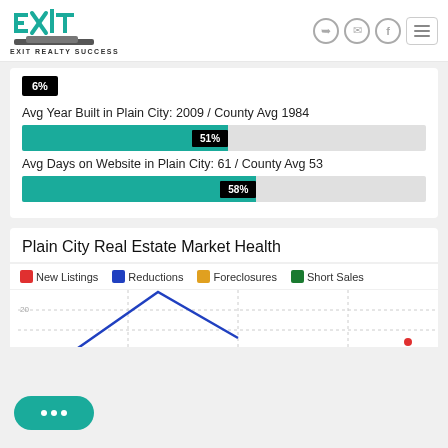[Figure (logo): EXIT Realty Success logo with teal EXIT text and building silhouette]
6%
Avg Year Built in Plain City: 2009 / County Avg 1984
51%
Avg Days on Website in Plain City: 61 / County Avg 53
58%
Plain City Real Estate Market Health
New Listings  Reductions  Foreclosures  Short Sales
[Figure (line-chart): Partial line chart showing market health trends for New Listings, Reductions, Foreclosures, and Short Sales in Plain City]